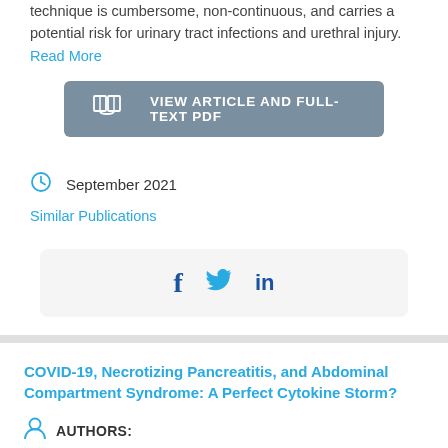technique is cumbersome, non-continuous, and carries a potential risk for urinary tract infections and urethral injury. Read More
VIEW ARTICLE AND FULL-TEXT PDF
September 2021
Similar Publications
[Figure (infographic): Social media share icons: Facebook (f), Twitter (bird), LinkedIn (in)]
COVID-19, Necrotizing Pancreatitis, and Abdominal Compartment Syndrome: A Perfect Cytokine Storm?
AUTHORS:
Abdul Rahman Al Armashi